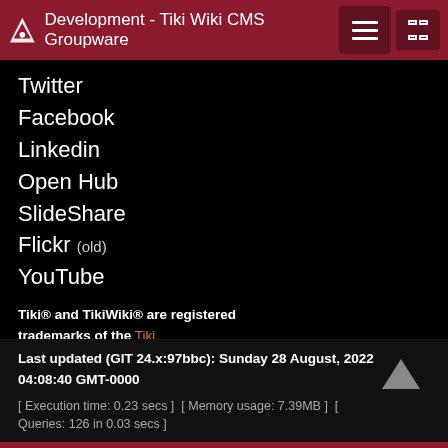Development - Tiki Wiki CMS Groupware
Twitter
Facebook
Linkedin
Open Hub
SlideShare
Flickr (old)
YouTube
Tiki® and TikiWiki® are registered trademarks of the Tiki Software Community Association.
[Figure (logo): SourceForge logo — orange diamond icon with white SOURCEFORGE text on dark background]
Last updated (GIT 24.x:97bbc): Sunday 28 August, 2022 04:08:40 GMT-0000
[ Execution time: 0.23 secs ]  [ Memory usage: 7.39MB ]  [ Queries: 126 in 0.03 secs ]